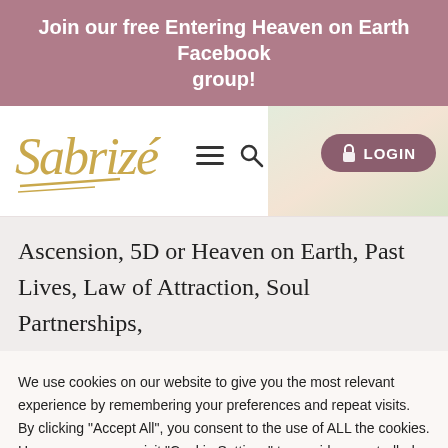Join our free Entering Heaven on Earth Facebook group!
[Figure (logo): Sabrizé cursive gold logo with navigation icons (hamburger menu, search) and a LOGIN button on mauve background with a nature background image on the right]
Ascension, 5D or Heaven on Earth, Past Lives, Law of Attraction, Soul Partnerships,
We use cookies on our website to give you the most relevant experience by remembering your preferences and repeat visits. By clicking "Accept All", you consent to the use of ALL the cookies. However, you may visit "Cookie Settings" to provide a controlled consent.